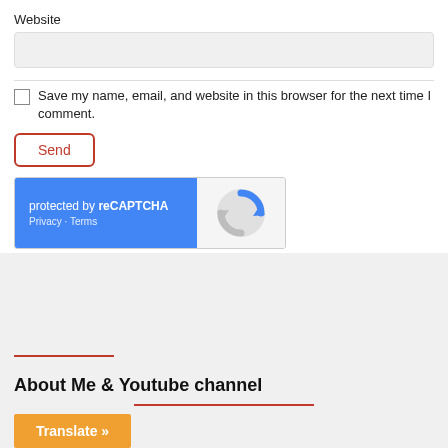Website
[Figure (screenshot): Website text input field (gray background, rounded rectangle)]
Save my name, email, and website in this browser for the next time I comment.
Send
[Figure (screenshot): reCAPTCHA widget: blue left panel with 'protected by reCAPTCHA' and 'Privacy - Terms', right panel with Google reCAPTCHA logo]
About Me & Youtube channel
Translate »